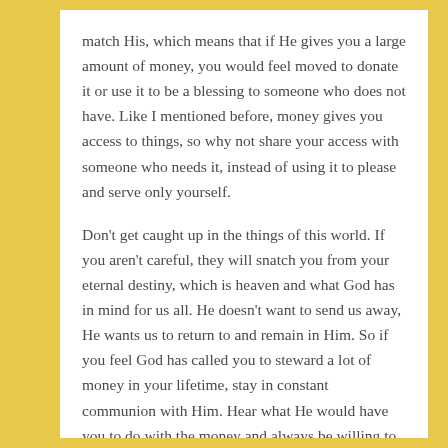match His, which means that if He gives you a large amount of money, you would feel moved to donate it or use it to be a blessing to someone who does not have. Like I mentioned before, money gives you access to things, so why not share your access with someone who needs it, instead of using it to please and serve only yourself.
Don't get caught up in the things of this world. If you aren't careful, they will snatch you from your eternal destiny, which is heaven and what God has in mind for us all. He doesn't want to send us away, He wants us to return to and remain in Him. So if you feel God has called you to steward a lot of money in your lifetime, stay in constant communion with Him. Hear what He would have you to do with the money and always be willing to give. I am so glad God knows